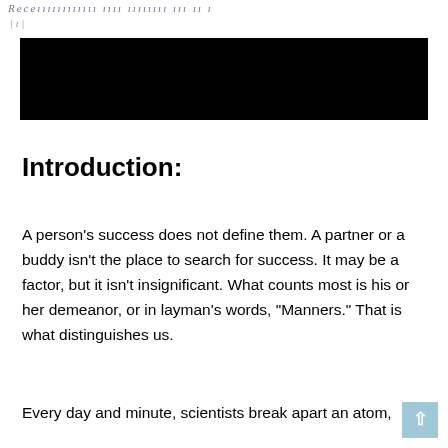[Figure (other): Handwritten cursive text at the top of the page, partially visible, in blue ink on white background]
[Figure (other): Black redaction bar covering text]
Introduction:
A person's success does not define them. A partner or a buddy isn't the place to search for success. It may be a factor, but it isn't insignificant. What counts most is his or her demeanor, or in layman's words, “Manners.” That is what distinguishes us.
Every day and minute, scientists break apart an atom,